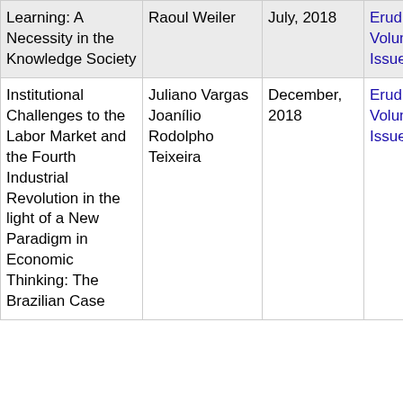| Title | Author | Date | Publication | Link |
| --- | --- | --- | --- | --- |
| Learning: A Necessity in the Knowledge Society | Raoul Weiler | July, 2018 | Eruditio Volume 2 Issue 4 | Link to |
| Institutional Challenges to the Labor Market and the Fourth Industrial Revolution in the light of a New Paradigm in Economic Thinking: The Brazilian Case | Juliano Vargas
Joanílio Rodolpho Teixeira | December, 2018 | Eruditio Volume 2 Issue 5 | Link to |